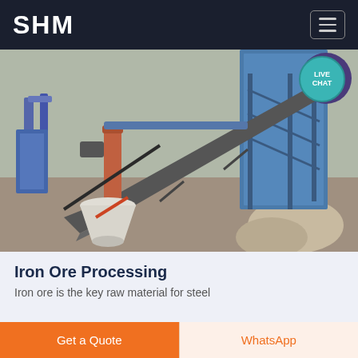SHM
[Figure (photo): Aerial view of an industrial iron ore processing plant with conveyor belts, a cone crusher, blue steel structures, and machinery on a rocky site. A 'LIVE CHAT' badge appears in the top right corner of the image.]
Iron Ore Processing
Iron ore is the key raw material for steel
Get a Quote
WhatsApp